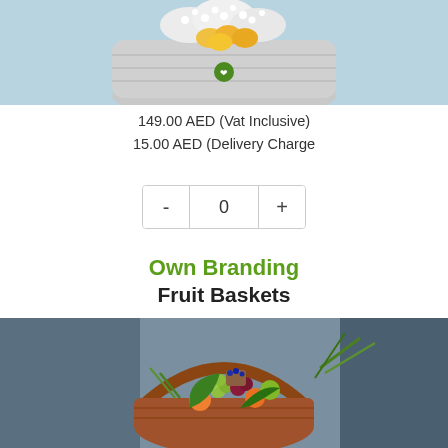[Figure (photo): Top portion of a fruit basket with white flowers and yellow/orange fruits in a wicker basket on a blue background]
149.00 AED (Vat Inclusive)
15.00 AED (Delivery Charge
[Figure (infographic): Quantity selector control with minus (-), 0, and plus (+) buttons]
Own Branding
Fruit Baskets
[Figure (photo): A wicker fruit basket with handle containing assorted fruits including grapes, apples, oranges, and blueberries, with green grass decoration, on a blue background]